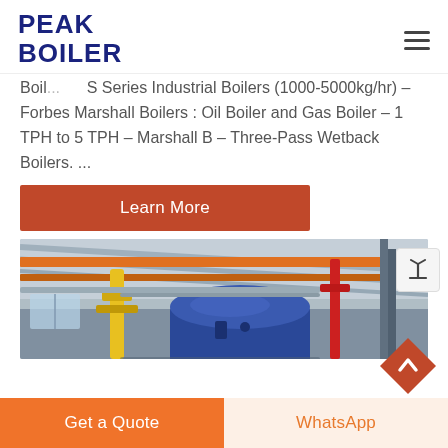PEAK BOILER
Boil... S Series Industrial Boilers (1000-5000kg/hr) – Forbes Marshall Boilers : Oil Boiler and Gas Boiler – 1 TPH to 5 TPH – Marshall B – Three-Pass Wetback Boilers. ...
Learn More
[Figure (photo): Interior of an industrial boiler room showing large cylindrical blue boiler, yellow and orange pipes, steel framework, and industrial ceiling with orange crossbeams.]
Get a Quote
WhatsApp